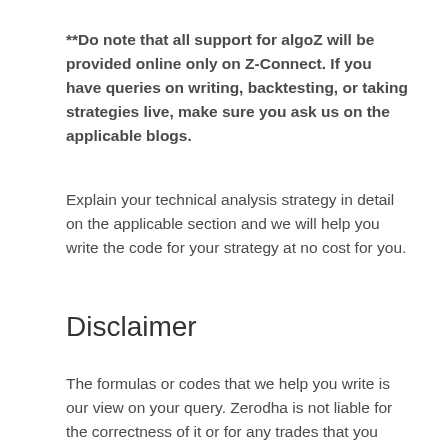**Do note that all support for algoZ will be provided online only on Z-Connect. If you have queries on writing, backtesting, or taking strategies live, make sure you ask us on the applicable blogs.
Explain your technical analysis strategy in detail on the applicable section and we will help you write the code for your strategy at no cost for you.
Disclaimer
The formulas or codes that we help you write is our view on your query. Zerodha is not liable for the correctness of it or for any trades that you take based on it. algoZ/Nest Pulse is